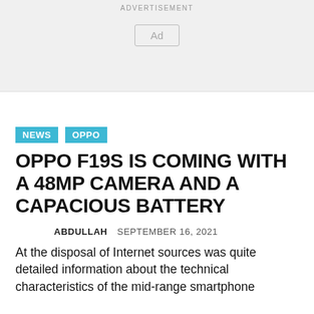ADVERTISEMENT
[Figure (other): Advertisement placeholder box with label 'Ad']
NEWS
OPPO
OPPO F19S IS COMING WITH A 48MP CAMERA AND A CAPACIOUS BATTERY
ABDULLAH   SEPTEMBER 16, 2021
At the disposal of Internet sources was quite detailed information about the technical characteristics of the mid-range smartphone